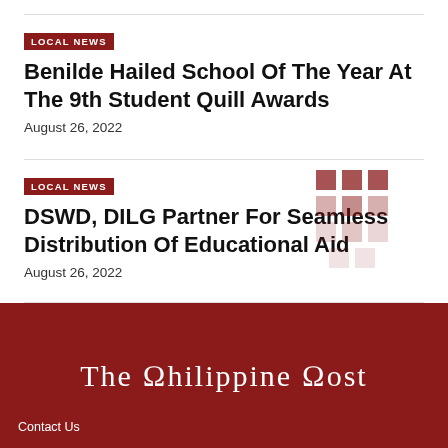LOCAL NEWS
Benilde Hailed School Of The Year At The 9th Student Quill Awards
August 26, 2022
LOCAL NEWS
DSWD, DILG Partner For Seamless Distribution Of Educational Aid
August 26, 2022
The Philippine Post
Contact Us